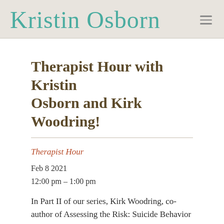Kristin Osborn
Therapist Hour with Kristin Osborn and Kirk Woodring!
Therapist Hour
Feb 8 2021
12:00 pm – 1:00 pm
In Part II of our series, Kirk Woodring, co-author of Assessing the Risk: Suicide Behavior in the Hospital Environment of Care, will discuss the importance of speaking about